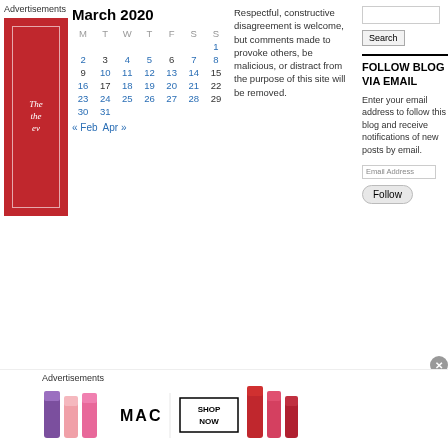Advertisements
[Figure (illustration): Red advertisement box with white text and border]
March 2020
| M | T | W | T | F | S | S |
| --- | --- | --- | --- | --- | --- | --- |
|  |  |  |  |  |  | 1 |
| 2 | 3 | 4 | 5 | 6 | 7 | 8 |
| 9 | 10 | 11 | 12 | 13 | 14 | 15 |
| 16 | 17 | 18 | 19 | 20 | 21 | 22 |
| 23 | 24 | 25 | 26 | 27 | 28 | 29 |
| 30 | 31 |  |  |  |  |  |
« Feb   Apr »
Respectful, constructive disagreement is welcome, but comments made to provoke others, be malicious, or distract from the purpose of this site will be removed.
Search
FOLLOW BLOG VIA EMAIL
Enter your email address to follow this blog and receive notifications of new posts by email.
Email Address
Follow
Advertisements
[Figure (illustration): MAC cosmetics advertisement with lipsticks and SHOP NOW button]